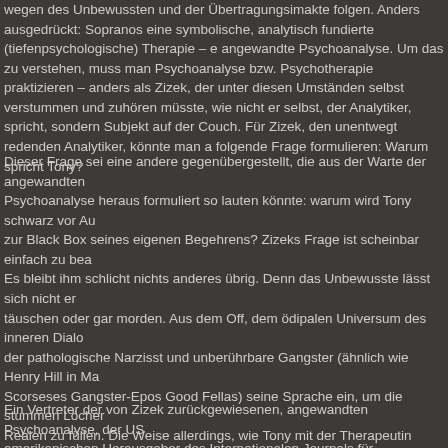wegen des Unbewussten und der Übertragungsimakte folgen. Anders ausgedrückt: Sopranos eine symbolische, analytisch fundierte (tiefenpsychologische) Therapie – eine angewandte Psychoanalyse. Um das zu verstehen, muss man Psychoanalyse bzw. Psychotherapie praktizieren – anders als Zizek, der unter diesen Umständen selbst verstummen und zuhören müsste, wie nicht er selbst, der Analytiker, spricht, sondern das Subjekt auf der Couch. Für Zizek, den unentwegt redenden Analytiker, könnte man also folgende Frage formulieren: Warum spricht Tony?
Dieser Frage sei eine andere gegenübergestellt, die aus der Warte der angewandten Psychoanalyse heraus formuliert so lauten könnte: warum wird Tony schwarz vor Augen, zur Black Box seines eigenen Begehrens? Zizeks Frage ist scheinbar einfach zu beantworten: Es bleibt ihm schlicht nichts anderes übrig. Denn das Unbewusste lässt sich nicht erpressen, täuschen oder gar morden. Aus dem Off, dem ödipalen Universum des inneren Dialogs, meldet der pathologische Narzisst und unberührbare Gangster (ähnlich wie Henry Hill in Martin Scorseses Gangster-Epos Good Fellas) seine Sprache ein, um die stummen Löcher des Realen zu füllen. Die Weise allerdings, wie Tony mit der Therapeutin spricht, zeugt in Anbetracht der genannten Lügen und Auslassungen von einem Gelingen ebenso wie von einem Scheitern, was ihn zu einer tragischen Figur ebenso wie zu einem guten Comedy-Protagonisten macht, der sich jedem Versuch der Veränderung erfolgreich widersetzt. Sein Sprechen ist das Regressionsverlangen eines leicht kränkbaren Subjekts, das ständig auf Abwehr gestellt ist und seinen Meister in sich selbst findet: in der Macht der Ohn-Macht.
Ein Vertreter der von Zizek zurückgewiesenen, angewandten Psychoanalyse, der US-amerikanischen Herausgeber des Internationalen Journals für Psychoanalyse, Ch...